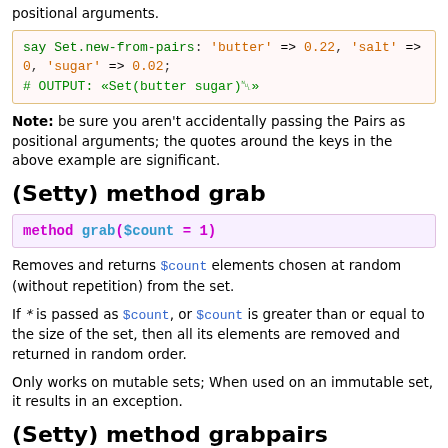positional arguments.
[Figure (screenshot): Code block showing: say Set.new-from-pairs: 'butter' => 0.22, 'salt' => 0, 'sugar' => 0.02;
# OUTPUT: «Set(butter sugar)␀»]
Note: be sure you aren't accidentally passing the Pairs as positional arguments; the quotes around the keys in the above example are significant.
(Setty) method grab
[Figure (screenshot): Method signature: method grab($count = 1)]
Removes and returns $count elements chosen at random (without repetition) from the set.
If * is passed as $count, or $count is greater than or equal to the size of the set, then all its elements are removed and returned in random order.
Only works on mutable sets; When used on an immutable set, it results in an exception.
(Setty) method grabpairs